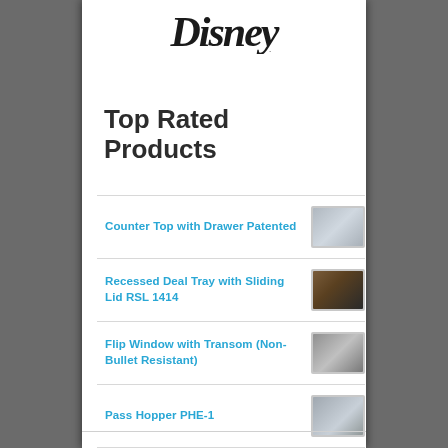[Figure (logo): Disney logo in stylized script font at top of white panel]
Top Rated Products
Counter Top with Drawer Patented
Recessed Deal Tray with Sliding Lid RSL 1414
Flip Window with Transom (Non-Bullet Resistant)
Pass Hopper PHE-1
Exterior Service Window